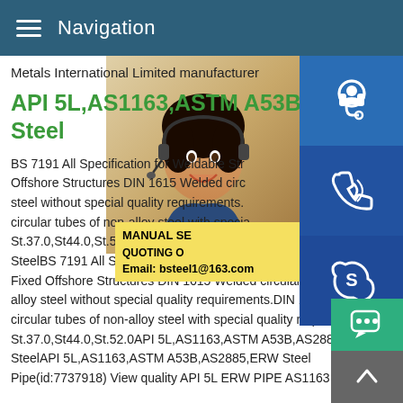Navigation
Metals International Limited manufacturer
API 5L,AS1163,ASTM A53B,A Steel
BS 7191 All Specification for Weldable Str Offshore Structures DIN 1615 Welded circ steel without special quality requirements. circular tubes of non-alloy steel with specia St.37.0,St44.0,St.52.0API 5L,AS1163,AST SteelBS 7191 All Specification for Weldab Fixed Offshore Structures DIN 1615 Welded circular tubes of non-alloy steel without special quality requirements.DIN 1626 Welded circular tubes of non-alloy steel with special quality requireme St.37.0,St44.0,St.52.0API 5L,AS1163,ASTM A53B,AS2885,ER SteelAPI 5L,AS1163,ASTM A53B,AS2885,ERW Steel Pipe(id:7737918) View quality API 5L ERW PIPE AS1163 ERV
[Figure (photo): Woman with headset smiling, customer service representative]
[Figure (infographic): Sidebar with headset icon (blue), phone icon (blue), Skype icon (blue)]
MANUAL SE QUOTING O Email: bsteel1@163.com